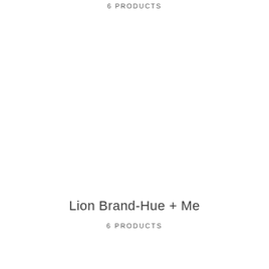6 PRODUCTS
Lion Brand-Hue + Me
6 PRODUCTS